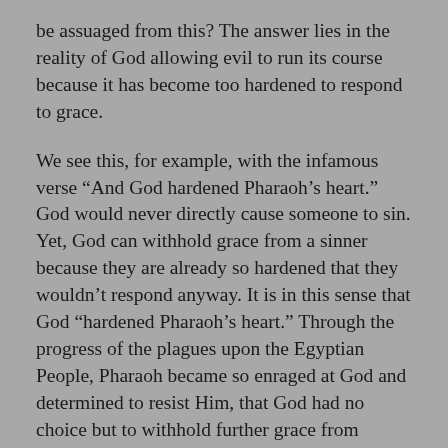be assuaged from this? The answer lies in the reality of God allowing evil to run its course because it has become too hardened to respond to grace.
We see this, for example, with the infamous verse “And God hardened Pharaoh’s heart.” God would never directly cause someone to sin. Yet, God can withhold grace from a sinner because they are already so hardened that they wouldn’t respond anyway. It is in this sense that God “hardened Pharaoh’s heart.” Through the progress of the plagues upon the Egyptian People, Pharaoh became so enraged at God and determined to resist Him, that God had no choice but to withhold further grace from Pharaoh in order that he might allow him to slide into ultimate rigidity, holding out the remote possibility that Pharaoh might repent if things got bad enough for him that he had nowhere to turn.
Returning to our difficult Scripture, then, we must assume that when Jesus says he will kill the children of Jezebel with death, it